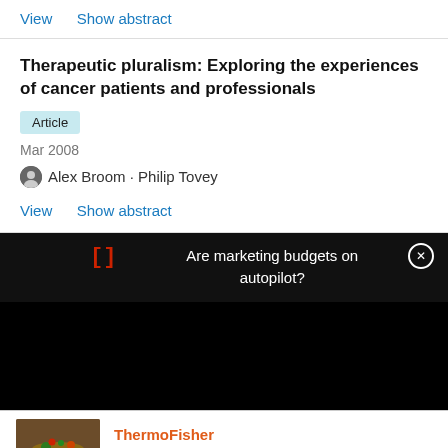View   Show abstract
Therapeutic pluralism: Exploring the experiences of cancer patients and professionals
Article
Mar 2008
Alex Broom · Philip Tovey
View   Show abstract
[] Are marketing budgets on autopilot?
[Figure (photo): Food photo showing a burger with vegetables, used in a Thermo Fisher Scientific advertisement]
ThermoFisher SCIENTIFIC
More than a matter of taste